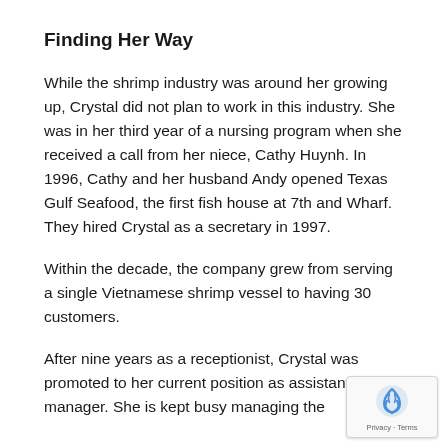Finding Her Way
While the shrimp industry was around her growing up, Crystal did not plan to work in this industry. She was in her third year of a nursing program when she received a call from her niece, Cathy Huynh. In 1996, Cathy and her husband Andy opened Texas Gulf Seafood, the first fish house at 7th and Wharf. They hired Crystal as a secretary in 1997.
Within the decade, the company grew from serving a single Vietnamese shrimp vessel to having 30 customers.
After nine years as a receptionist, Crystal was promoted to her current position as assistant manager. She is kept busy managing the